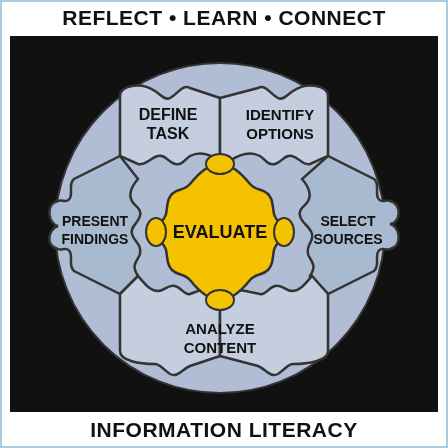REFLECT • LEARN • CONNECT
[Figure (infographic): Circular puzzle diagram showing Information Literacy model with 5 interlocking puzzle pieces on black background. The center piece is yellow and labeled EVALUATE. The four surrounding blue-gray puzzle pieces are labeled: DEFINE TASK (top-left), IDENTIFY OPTIONS (top-right), SELECT SOURCES (right), ANALYZE CONTENT (bottom), PRESENT FINDINGS (left). The pieces fit together in a circular arrangement.]
INFORMATION LITERACY